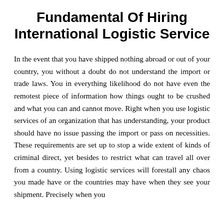Fundamental Of Hiring International Logistic Service
In the event that you have shipped nothing abroad or out of your country, you without a doubt do not understand the import or trade laws. You in everything likelihood do not have even the remotest piece of information how things ought to be crushed and what you can and cannot move. Right when you use logistic services of an organization that has understanding, your product should have no issue passing the import or pass on necessities. These requirements are set up to stop a wide extent of kinds of criminal direct, yet besides to restrict what can travel all over from a country. Using logistic services will forestall any chaos you made have or the countries may have when they see your shipment. Precisely when you